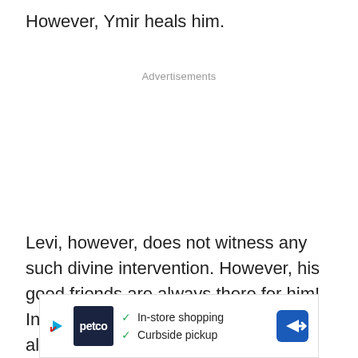However, Ymir heals him.
Advertisements
Levi, however, does not witness any such divine intervention. However, his good friends are always there for him! In the aftermath of the blast, Levi is also in a very
[Figure (other): Advertisement banner for Petco featuring In-store shopping and Curbside pickup options with a navigation icon]